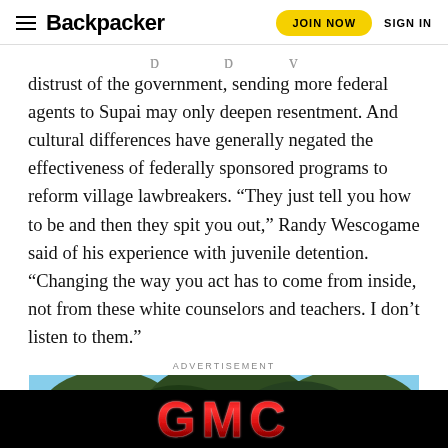Backpacker — JOIN NOW  SIGN IN
distrust of the government, sending more federal agents to Supai may only deepen resentment. And cultural differences have generally negated the effectiveness of federally sponsored programs to reform village lawbreakers. “They just tell you how to be and then they spit you out,” Randy Wescogame said of his experience with juvenile detention. “Changing the way you act has to come from inside, not from these white counselors and teachers. I don’t listen to them.”
ADVERTISEMENT
[Figure (photo): Outdoor scene with large trees, string lights, and people at what appears to be an outdoor venue or gathering. Ad image partially visible.]
[Figure (logo): GMC logo in red metallic letters on black background at the bottom of the page.]